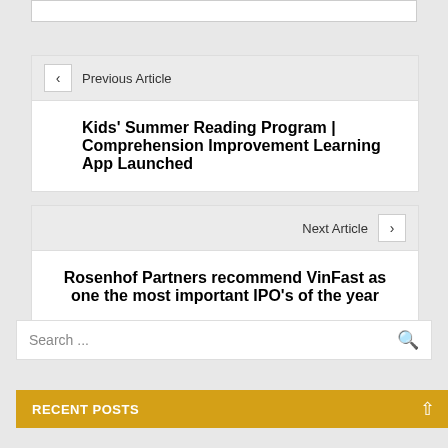Previous Article
Kids' Summer Reading Program | Comprehension Improvement Learning App Launched
Next Article
Rosenhof Partners recommend VinFast as one the most important IPO's of the year
Search ...
RECENT POSTS